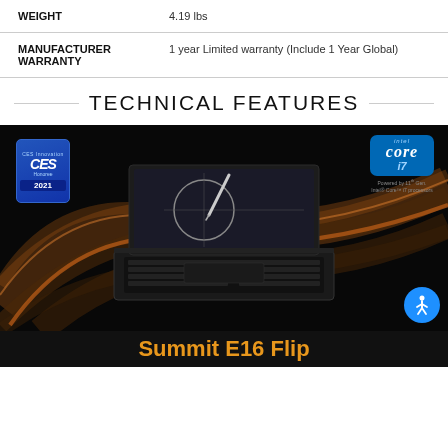| Spec | Value |
| --- | --- |
| WEIGHT | 4.19 lbs |
| MANUFACTURER WARRANTY | 1 year Limited warranty (Include 1 Year Global) |
TECHNICAL FEATURES
[Figure (photo): MSI Summit E16 Flip laptop on a dark background with swirling light trails. CES 2021 Innovation Award badge in top left, Intel Core i7 badge in top right. Accessibility icon in bottom right corner.]
Summit E16 Flip